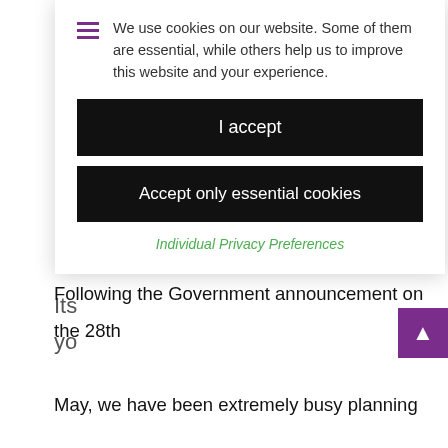[Figure (screenshot): Cookie consent overlay with hamburger menu icon, cookie notice text, two black buttons (I accept / Accept only essential cookies), and a green Individual Privacy Preferences link]
We use cookies on our website. Some of them are essential, while others help us to improve this website and your experience.
I accept
Accept only essential cookies
Individual Privacy Preferences
Following the Government announcement on the 28th May, we have been extremely busy planning our reopening. Unfortunately, for a variety of operational reasons, we were unable to meet the date of the 8th June but can now confirm that we will be reopening on Monday 15th June 2020.
The reopening will be phased, taking into